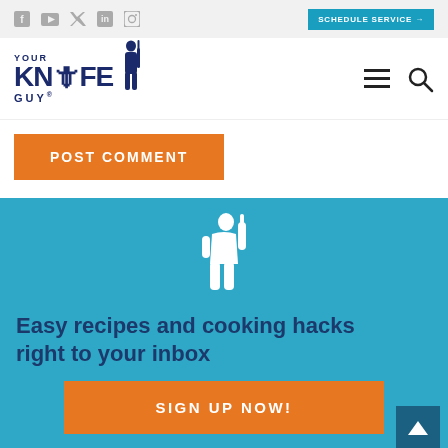Social icons: Facebook, YouTube, Twitter, LinkedIn, Instagram | SCHEDULE SERVICE →
[Figure (logo): Your Knife Guy logo with silhouette figure holding a knife]
POST COMMENT
[Figure (illustration): White silhouette of a person holding a knife upright on blue background]
Easy recipes and cooking hacks right to your inbox
SIGN UP NOW!